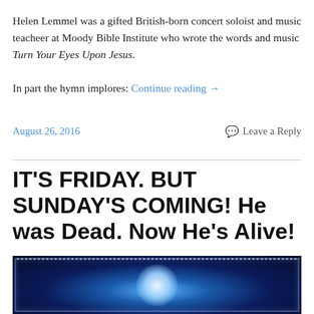Helen Lemmel was a gifted British-born concert soloist and music teacheer at Moody Bible Institute who wrote the words and music Turn Your Eyes Upon Jesus.
In part the hymn implores: Continue reading →
August 26, 2016
Leave a Reply
IT'S FRIDAY. BUT SUNDAY'S COMING! He was Dead. Now He's Alive!
[Figure (photo): Dark blue glowing background image, possibly depicting a cross or light burst with a decorative border frame, used as a header image for the blog post.]